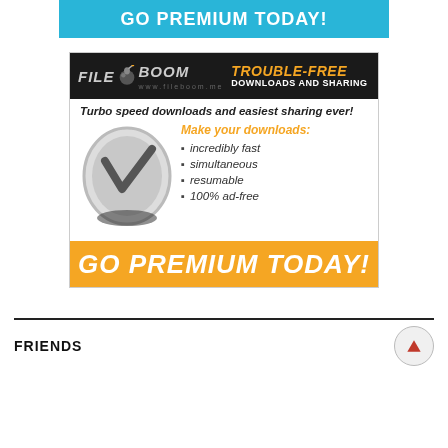[Figure (infographic): Top blue banner with bold white text GO PREMIUM TODAY!]
[Figure (infographic): FileBoom advertisement. Header with FileBoom logo and TROUBLE-FREE DOWNLOADS AND SHARING tagline. Body with turbo speed downloads text, checkmark coin icon, orange Make your downloads: label, and bullet list: incredibly fast, simultaneous, resumable, 100% ad-free. Bottom orange GO PREMIUM TODAY! banner.]
FRIENDS